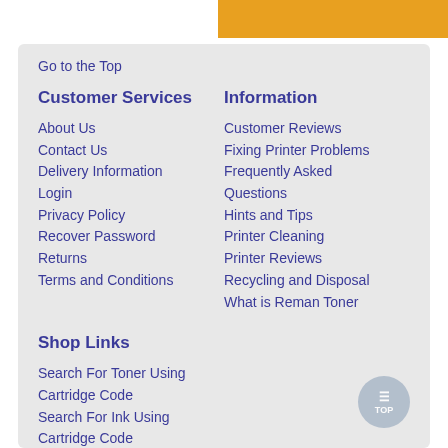[Figure (other): Orange/amber colored button or banner bar at top right]
Go to the Top
Customer Services
Information
About Us
Customer Reviews
Contact Us
Fixing Printer Problems
Delivery Information
Frequently Asked Questions
Login
Hints and Tips
Privacy Policy
Printer Cleaning
Recover Password
Printer Reviews
Returns
Recycling and Disposal
Terms and Conditions
What is Reman Toner
Shop Links
Search For Toner Using Cartridge Code
Search For Ink Using Cartridge Code